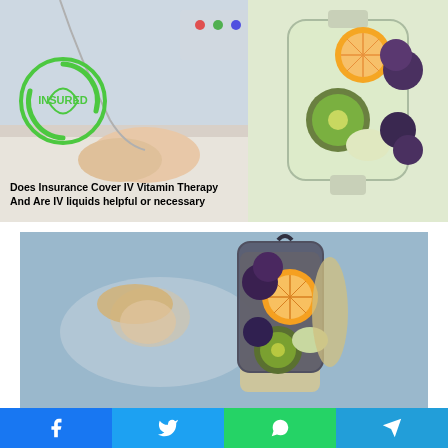[Figure (photo): Top composite image: left side shows a hospital patient with an IV drip with 'INSURED' logo overlay; right side shows a clear IV bag filled with fruits (orange, kiwi, grapes, apple). Text overlay reads 'Does Insurance Cover IV Vitamin Therapy And Are IV liquids helpful or necessary']
Does Insurance Cover IV Vitamin Therapy And Are IV liquids helpful or necessary
[Figure (photo): Bottom image: a gloved hand holding an IV bag filled with fruits (orange, kiwi, grapes) with a female patient lying in a hospital bed visible in the blurred background]
[Figure (infographic): Social share bar at bottom with four buttons: Facebook (blue), Twitter (light blue), WhatsApp (green), Telegram (blue)]